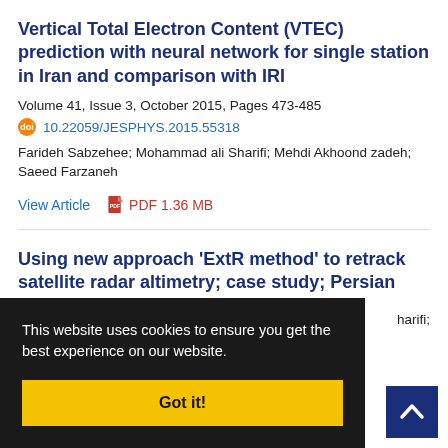Vertical Total Electron Content (VTEC) prediction with neural network for single station in Iran and comparison with IRI
Volume 41, Issue 3, October 2015, Pages 473-485
doi 10.22059/JESPHYS.2015.55318
Farideh Sabzehee; Mohammad ali Sharifi; Mehdi Akhoond zadeh; Saeed Farzaneh
View Article   PDF 1.36 MB
Using new approach ‘ExtR method’ to retrack satellite radar altimetry; case study; Persian Gulf
harifi;
This website uses cookies to ensure you get the best experience on our website.
Got it!